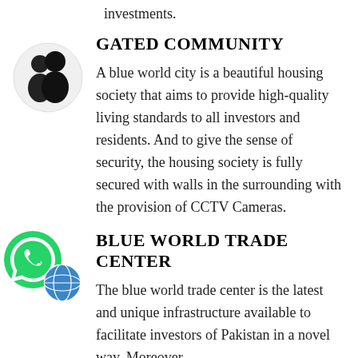investments.
GATED COMMUNITY
[Figure (illustration): Icon of two people silhouette representing community]
A blue world city is a beautiful housing society that aims to provide high-quality living standards to all investors and residents. And to give the sense of security, the housing society is fully secured with walls in the surrounding with the provision of CCTV Cameras.
BLUE WORLD TRADE CENTER
[Figure (illustration): WhatsApp green phone icon and a globe icon]
The blue world trade center is the latest and unique infrastructure available to facilitate investors of Pakistan in a novel way. Moreover